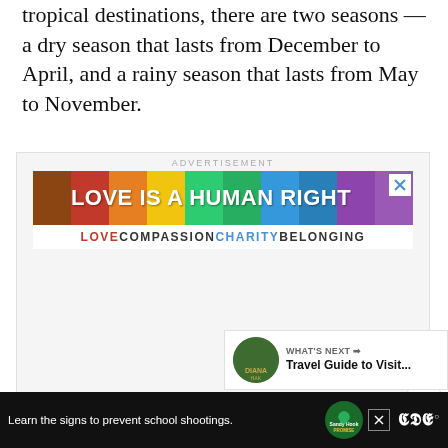tropical destinations, there are two seasons — a dry season that lasts from December to April, and a rainy season that lasts from May to November.
[Figure (screenshot): Advertisement banner: 'LOVE IS A HUMAN RIGHT' with rainbow-colored background, followed by tagline 'LOVE COMPASSION CHARITY BELONGING']
[Figure (screenshot): What's Next promo: Travel Guide to Visit...]
[Figure (screenshot): Bottom advertisement: 'Learn the signs to prevent school shootings.' with Sandy Hook Promise logo]